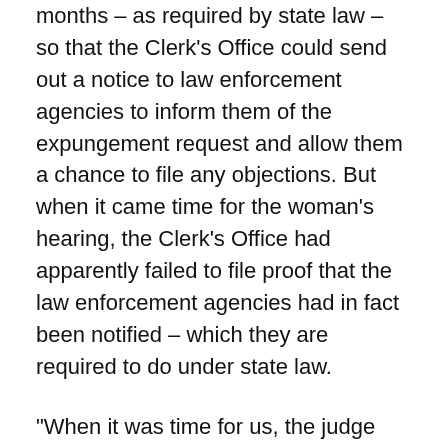months – as required by state law – so that the Clerk's Office could send out a notice to law enforcement agencies to inform them of the expungement request and allow them a chance to file any objections. But when it came time for the woman's hearing, the Clerk's Office had apparently failed to file proof that the law enforcement agencies had in fact been notified – which they are required to do under state law.
“When it was time for us, the judge had apologized,” Williams said. “I guess the Clerk’s Office didn’t do what they were supposed to do. And she was caught by surprise and she had pushed it back.”